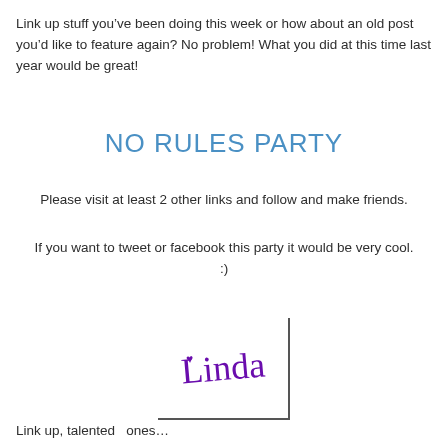Link up stuff you’ve been doing this week or how about an old post you’d like to feature again? No problem! What you did at this time last year would be great!
NO RULES PARTY
Please visit at least 2 other links and follow and make friends.
If you want to tweet or facebook this party it would be very cool. :)
[Figure (illustration): Handwritten cursive signature reading 'Linda' in purple ink with a small heart, inside a partial border (right and bottom lines)]
Link up, talented  ones…